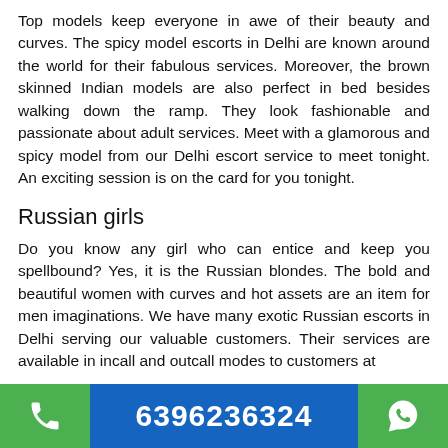Top models keep everyone in awe of their beauty and curves. The spicy model escorts in Delhi are known around the world for their fabulous services. Moreover, the brown skinned Indian models are also perfect in bed besides walking down the ramp. They look fashionable and passionate about adult services. Meet with a glamorous and spicy model from our Delhi escort service to meet tonight. An exciting session is on the card for you tonight.
Russian girls
Do you know any girl who can entice and keep you spellbound? Yes, it is the Russian blondes. The bold and beautiful women with curves and hot assets are an item for men imaginations. We have many exotic Russian escorts in Delhi serving our valuable customers. Their services are available in incall and outcall modes to customers at
6396236324